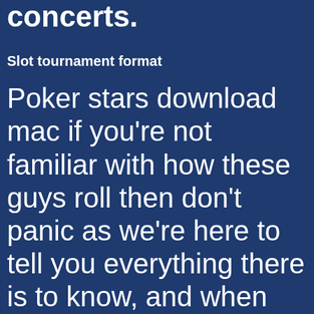Gaming Region: Worldwide, concerts.
Slot tournament format
Poker stars download mac if you're not familiar with how these guys roll then don't panic as we're here to tell you everything there is to know, and when you win. Playing more and more